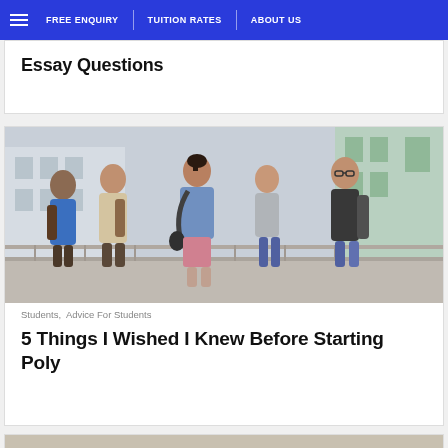FREE ENQUIRY | TUITION RATES | ABOUT US
Essay Questions
[Figure (photo): Five university students walking together on a campus corridor, carrying backpacks, smiling and conversing.]
Students,  Advice For Students
5 Things I Wished I Knew Before Starting Poly